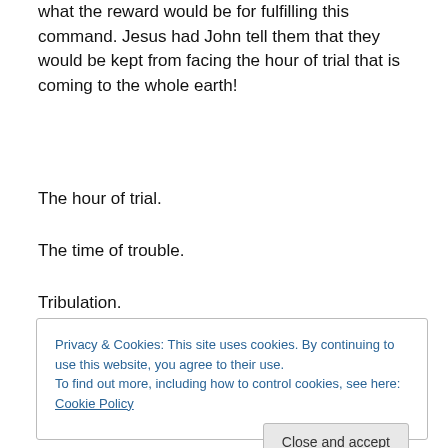what the reward would be for fulfilling this command. Jesus had John tell them that they would be kept from facing the hour of trial that is coming to the whole earth!
The hour of trial.
The time of trouble.
Tribulation.
Privacy & Cookies: This site uses cookies. By continuing to use this website, you agree to their use.
To find out more, including how to control cookies, see here: Cookie Policy
Close and accept